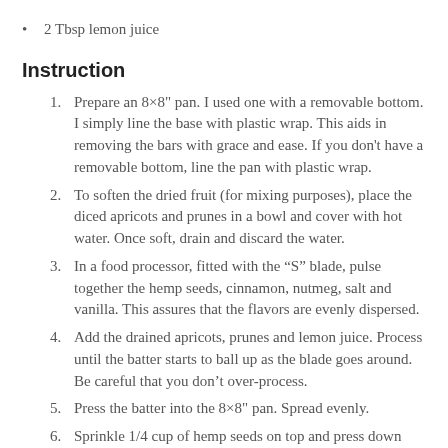2 Tbsp lemon juice
Instruction
Prepare an 8×8" pan. I used one with a removable bottom. I simply line the base with plastic wrap. This aids in removing the bars with grace and ease. If you don't have a removable bottom, line the pan with plastic wrap.
To soften the dried fruit (for mixing purposes), place the diced apricots and prunes in a bowl and cover with hot water. Once soft, drain and discard the water.
In a food processor, fitted with the "S" blade, pulse together the hemp seeds, cinnamon, nutmeg, salt and vanilla. This assures that the flavors are evenly dispersed.
Add the drained apricots, prunes and lemon juice. Process until the batter starts to ball up as the blade goes around. Be careful that you don't over-process.
Press the batter into the 8×8" pan. Spread evenly.
Sprinkle 1/4 cup of hemp seeds on top and press down